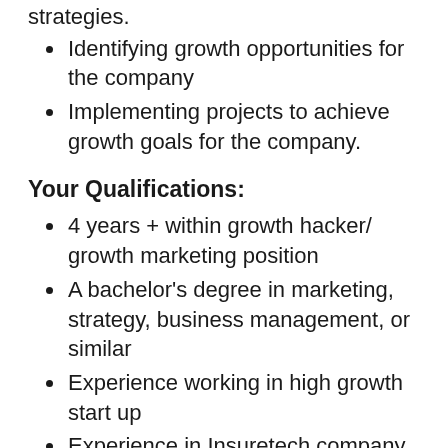strategies.
Identifying growth opportunities for the company
Implementing projects to achieve growth goals for the company.
Your Qualifications:
4 years + within growth hacker/ growth marketing position
A bachelor's degree in marketing, strategy, business management, or similar
Experience working in high growth start up
Experience in Insuretech company would be ideal
Expertise in marketing, online